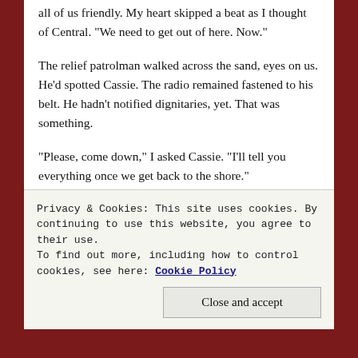all of us friendly. My heart skipped a beat as I thought of Central. “We need to get out of here. Now.”
The relief patrolman walked across the sand, eyes on us. He’d spotted Cassie. The radio remained fastened to his belt. He hadn’t notified dignitaries, yet. That was something.
“Please, come down,” I asked Cassie. “I’ll tell you everything once we get back to the shore.”
She glanced over her shoulder at the deck warily. “Two hundred thousand?”
“My parents built a house nearby. It’s where I stay when I
Privacy & Cookies: This site uses cookies. By continuing to use this website, you agree to their use.
To find out more, including how to control cookies, see here: Cookie Policy
Close and accept